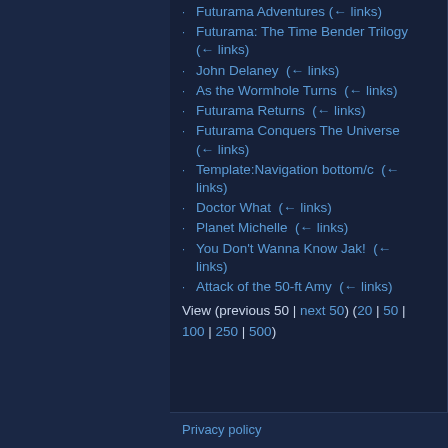Futurama Adventures (← links)
Futurama: The Time Bender Trilogy (← links)
John Delaney (← links)
As the Wormhole Turns (← links)
Futurama Returns (← links)
Futurama Conquers The Universe (← links)
Template:Navigation bottom/c (← links)
Doctor What (← links)
Planet Michelle (← links)
You Don't Wanna Know Jak! (← links)
Attack of the 50-ft Amy (← links)
View (previous 50 | next 50) (20 | 50 | 100 | 250 | 500)
Privacy policy